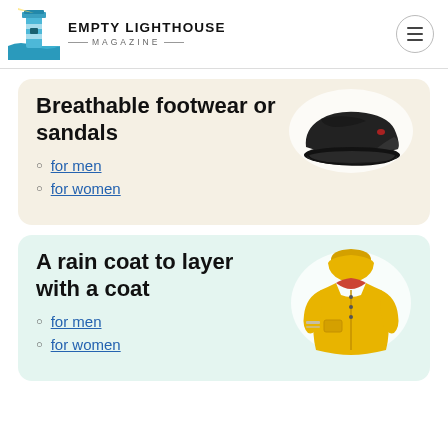EMPTY LIGHTHOUSE MAGAZINE
Breathable footwear or sandals
for men
for women
[Figure (photo): Black slip-on shoe on a white oval background]
A rain coat to layer with a coat
for men
for women
[Figure (photo): Yellow rain jacket on a white oval background]